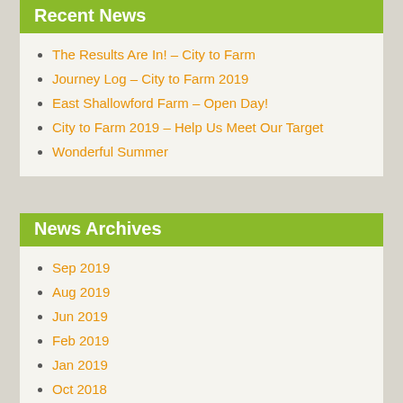Recent News
The Results Are In! – City to Farm
Journey Log – City to Farm 2019
East Shallowford Farm – Open Day!
City to Farm 2019 – Help Us Meet Our Target
Wonderful Summer
News Archives
Sep 2019
Aug 2019
Jun 2019
Feb 2019
Jan 2019
Oct 2018
Sep 2018
Jul 2018
Jun 2018